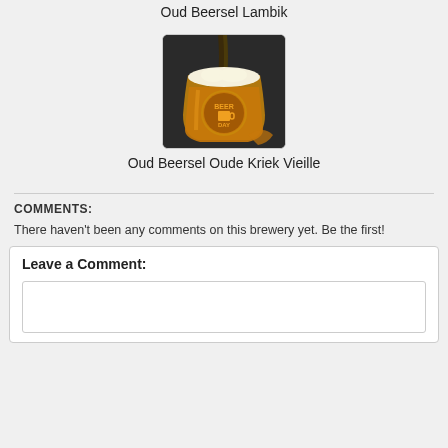Oud Beersel Lambik
[Figure (photo): Beer being poured into a glass with Beer Day logo, dark background]
Oud Beersel Oude Kriek Vieille
COMMENTS:
There haven't been any comments on this brewery yet. Be the first!
Leave a Comment: